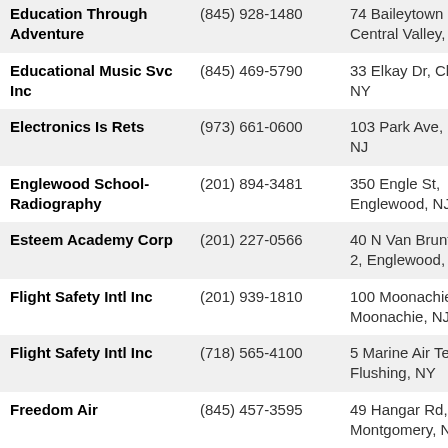| Name | Phone | Address |
| --- | --- | --- |
| Education Through Adventure | (845) 928-1480 | 74 Baileytown Rd, Central Valley, NY |
| Educational Music Svc Inc | (845) 469-5790 | 33 Elkay Dr, Chester, NY |
| Electronics Is Rets | (973) 661-0600 | 103 Park Ave, Nutley, NJ |
| Englewood School-Radiography | (201) 894-3481 | 350 Engle St, Englewood, NJ |
| Esteem Academy Corp | (201) 227-0566 | 40 N Van Brunt St # 2, Englewood, NJ |
| Flight Safety Intl Inc | (201) 939-1810 | 100 Moonachie Ave, Moonachie, NJ |
| Flight Safety Intl Inc | (718) 565-4100 | 5 Marine Air Terminal, Flushing, NY |
| Freedom Air | (845) 457-3595 | 49 Hangar Rd, Montgomery, NY |
| Garden State School-Business | (973) 373-3900 | 1049 Clinton Ave, Irvington, NJ |
| Geist, Robert - | (732) 238-1200 | 372 State Route 18, East Brunswick, NJ |